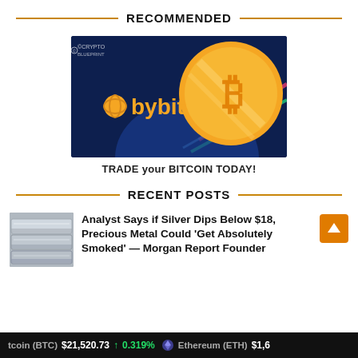RECOMMENDED
[Figure (illustration): Bybit crypto exchange advertisement banner. Dark navy background with colorful diagonal lines. Bybit logo in yellow text with crypto globe icon on left. Large golden Bitcoin coin on right. CryptoBlueprint watermark in top left.]
TRADE your BITCOIN TODAY!
RECENT POSTS
[Figure (photo): Photo of silver bars/precious metals, grey metallic bars stacked.]
Analyst Says if Silver Dips Below $18, Precious Metal Could 'Get Absolutely Smoked' — Morgan Report Founder